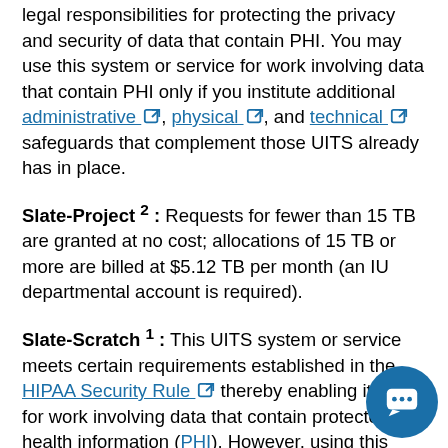legal responsibilities for protecting the privacy and security of data that contain PHI. You may use this system or service for work involving data that contain PHI only if you institute additional administrative, physical, and technical safeguards that complement those UITS already has in place.
Slate-Project 2 : Requests for fewer than 15 TB are granted at no cost; allocations of 15 TB or more are billed at $5.12 TB per month (an IU departmental account is required).
Slate-Scratch 1 : This UITS system or service meets certain requirements established in the HIPAA Security Rule thereby enabling its use for work involving data that contain protected health information (PHI). However, using this system or service does not fulfill your legal responsibilities for protecting the privacy and security of data that contain PHI. You may use this system or service for work involving data that contain PHI only if you institute additional administrative, physical, and technical safeguards that complement those UITS already has in place.